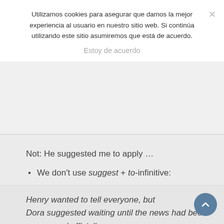Utilizamos cookies para asegurar que damos la mejor experiencia al usuario en nuestro sitio web. Si continúa utilizando este sitio asumiremos que está de acuerdo.
Estoy de acuerdo
Not: He suggested me to apply …
We don't use suggest + to-infinitive:
Henry wanted to tell everyone, but Dora suggested waiting until the news had been announced officially.
Not: Dora suggested to wait …